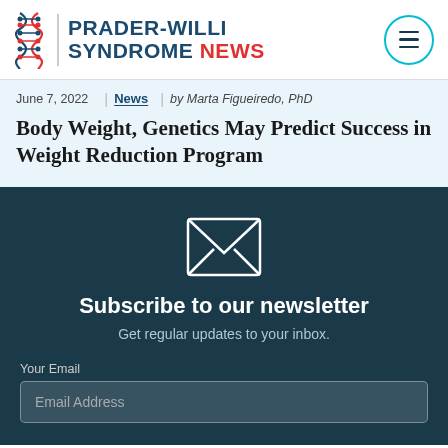PRADER-WILLI SYNDROME NEWS
June 7, 2022 | News | by Marta Figueiredo, PhD
Body Weight, Genetics May Predict Success in Weight Reduction Program
Subscribe to our newsletter
Get regular updates to your inbox.
Your Email
Email Address